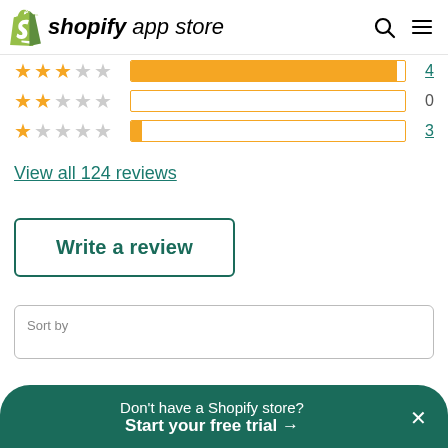[Figure (logo): Shopify App Store logo with green shopping bag icon and italic text 'shopify app store']
[Figure (infographic): Star rating bars: 3-star row with bar and count 4 (teal link), 2-star row with empty bar and count 0, 1-star row with minimal bar and count 3 (teal link)]
View all 124 reviews
Write a review
Sort by
Don't have a Shopify store? Start your free trial →